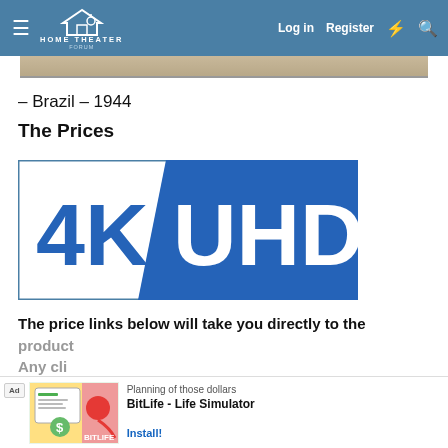HOME THEATER FORUM — Log in | Register
[Figure (screenshot): Cropped top portion of an image visible at the top of the page content area]
– Brazil – 1944
The Prices
[Figure (logo): 4K UHD logo — blue rectangle with white diagonal slash divider; '4K' in large blue letters on white left side, 'UHD' in large white letters on blue right side]
The price links below will take you directly to the product pages.
Any clicking ... you to our ow...
[Figure (screenshot): Ad banner: BitLife - Life Simulator with Install button]